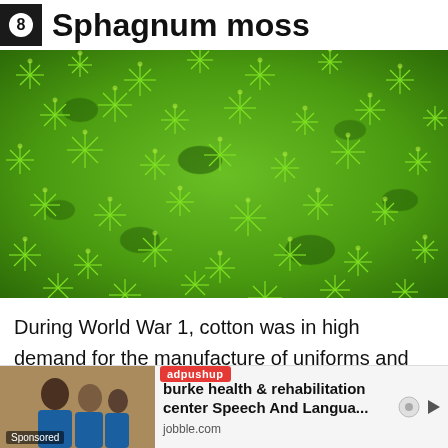Sphagnum moss
[Figure (photo): Close-up photograph of bright green sphagnum moss covering the entire frame, showing the star-shaped leafy structure of the moss plants densely packed together.]
During World War 1, cotton was in high demand for the manufacture of uniforms and explosives. For bandages, doctors turned to use sphagnum moss. It can hold up to 22 times its weight in liquid and is twice as absomtive as cotton making it ideal for use in field dressing environments.
[Figure (screenshot): Advertisement bar from adpushup showing an ad for 'burke health & rehabilitation center Speech And Langua...' from jobble.com, with a photo of healthcare workers and a Sponsored label.]